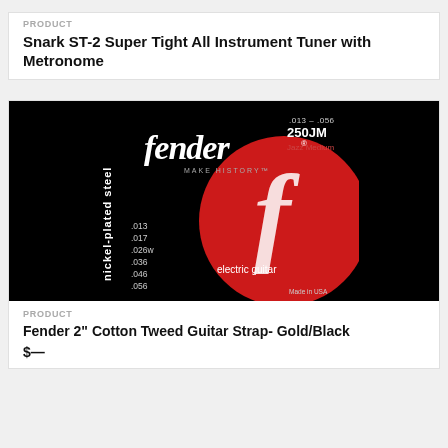PRODUCT
Snark ST-2 Super Tight All Instrument Tuner with Metronome
[Figure (photo): Fender 250JM Jazz Medium nickel-plated steel electric guitar strings packaging. Black background with red Fender logo circle. String gauges .013, .017, .026w, .036, .046, .056. Made in USA.]
PRODUCT
Fender 2" Cotton Tweed Guitar Strap- Gold/Black